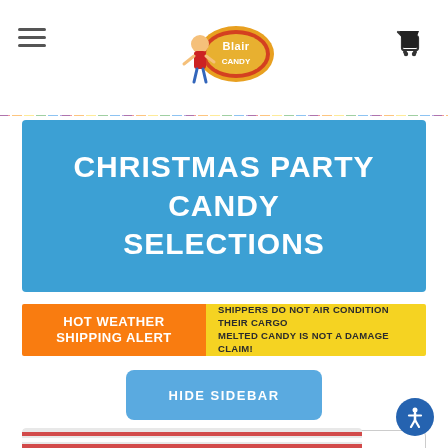[Figure (logo): Blair Candy company logo with cartoon character]
CHRISTMAS PARTY CANDY SELECTIONS
[Figure (infographic): Hot Weather Shipping Alert banner: SHIPPERS DO NOT AIR CONDITION THEIR CARGO MELTED CANDY IS NOT A DAMAGE CLAIM!]
HIDE SIDEBAR
Sort By: Featured Items